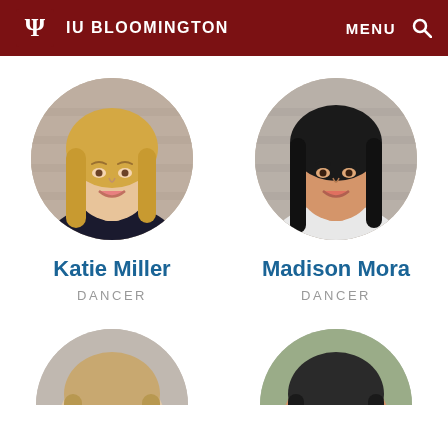IU BLOOMINGTON   MENU 🔍
[Figure (photo): Circular headshot of Katie Miller, a young woman with long blonde hair, smiling, wearing a black top, against a concrete background]
Katie Miller
DANCER
[Figure (photo): Circular headshot of Madison Mora, a young woman with long dark hair, smiling, wearing a white top, against a concrete background]
Madison Mora
DANCER
[Figure (photo): Partial circular headshot at bottom left, cropped person with light hair]
[Figure (photo): Partial circular headshot at bottom right, cropped person]